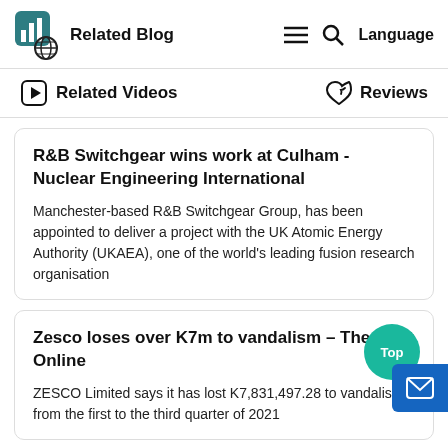Related Blog
Related Videos   Reviews
R&B Switchgear wins work at Culham - Nuclear Engineering International
Manchester-based R&B Switchgear Group, has been appointed to deliver a project with the UK Atomic Energy Authority (UKAEA), one of the world's leading fusion research organisation
Zesco loses over K7m to vandalism – The Mast Online
ZESCO Limited says it has lost K7,831,497.28 to vandalism from the first to the third quarter of 2021